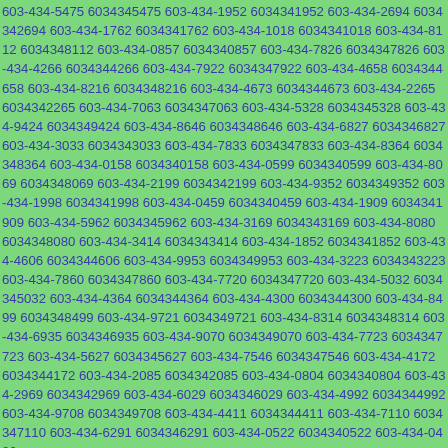603-434-5475 6034345475 603-434-1952 6034341952 603-434-2694 6034342694 603-434-1762 6034341762 603-434-1018 6034341018 603-434-8112 6034348112 603-434-0857 6034340857 603-434-7826 6034347826 603-434-4266 6034344266 603-434-7922 6034347922 603-434-4658 6034344658 603-434-8216 6034348216 603-434-4673 6034344673 603-434-2265 6034342265 603-434-7063 6034347063 603-434-5328 6034345328 603-434-9424 6034349424 603-434-8646 6034348646 603-434-6827 6034346827 603-434-3033 6034343033 603-434-7833 6034347833 603-434-8364 6034348364 603-434-0158 6034340158 603-434-0599 6034340599 603-434-8069 6034348069 603-434-2199 6034342199 603-434-9352 6034349352 603-434-1998 6034341998 603-434-0459 6034340459 603-434-1909 6034341909 603-434-5962 6034345962 603-434-3169 6034343169 603-434-8080 6034348080 603-434-3414 6034343414 603-434-1852 6034341852 603-434-4606 6034344606 603-434-9953 6034349953 603-434-3223 6034343223 603-434-7860 6034347860 603-434-7720 6034347720 603-434-5032 6034345032 603-434-4364 6034344364 603-434-4300 6034344300 603-434-8499 6034348499 603-434-9721 6034349721 603-434-8314 6034348314 603-434-6935 6034346935 603-434-9070 6034349070 603-434-7723 6034347723 603-434-5627 6034345627 603-434-7546 6034347546 603-434-4172 6034344172 603-434-2085 6034342085 603-434-0804 6034340804 603-434-2969 6034342969 603-434-6029 6034346029 603-434-4992 6034344992 603-434-9708 6034349708 603-434-4411 6034344411 603-434-7110 6034347110 603-434-6291 6034346291 603-434-0522 6034340522 603-434-0426